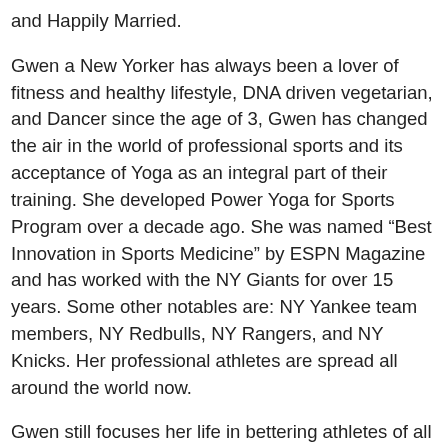and Happily Married.
Gwen a New Yorker has always been a lover of fitness and healthy lifestyle, DNA driven vegetarian, and Dancer since the age of 3, Gwen has changed the air in the world of professional sports and its acceptance of Yoga as an integral part of their training. She developed Power Yoga for Sports Program over a decade ago. She was named “Best Innovation in Sports Medicine” by ESPN Magazine and has worked with the NY Giants for over 15 years. Some other notables are: NY Yankee team members, NY Redbulls, NY Rangers, and NY Knicks. Her professional athletes are spread all around the world now.
Gwen still focuses her life in bettering athletes of all ages, but in addition she now teachers her trade secrets to people in more than 13 countries. Another project close to her heart is